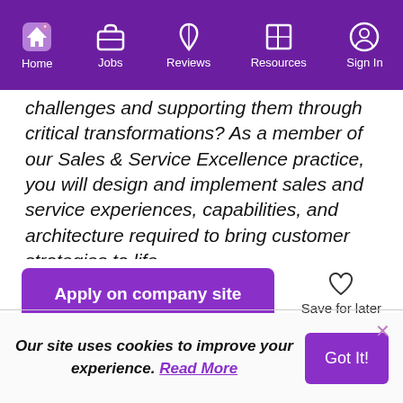Home | Jobs | Reviews | Resources | Sign In
challenges and supporting them through critical transformations? As a member of our Sales & Service Excellence practice, you will design and implement sales and service experiences, capabilities, and architecture required to bring customer strategies to life.

Would you like to work for an organization committed to your professional development and personal success? Deloitte offers an award-winning culture that supports our
Apply on company site
Save for later
Our site uses cookies to improve your experience. Read More
Got It!